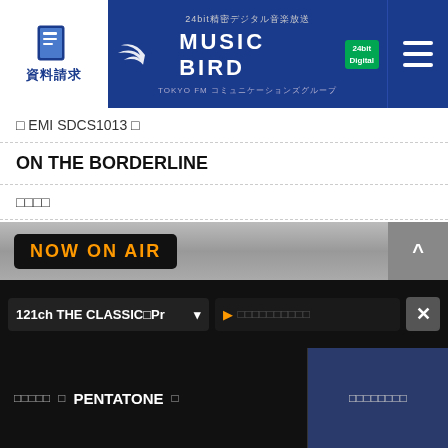MUSIC BIRD 24bit精密デジタル音楽放送
❑ EMI SDCS1013 ❑
ON THE BORDERLINE
□□□□
❑ -FEEL-
□□□
❑ POLYDOR
The Wave of the Wood / □□□□□
Andre Gagnon
NOW ON AIR
121ch THE CLASSIC□Pr
□□□□□ ❑ PENTATONE ❑    □□□□□□□□